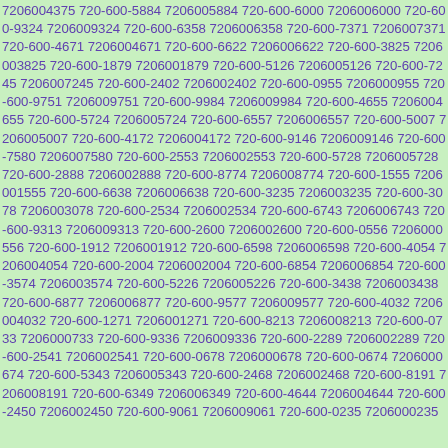7206004375 720-600-5884 7206005884 720-600-6000 7206006000 720-600-9324 7206009324 720-600-6358 7206006358 720-600-7371 7206007371 720-600-4671 7206004671 720-600-6622 7206006622 720-600-3825 7206003825 720-600-1879 7206001879 720-600-5126 7206005126 720-600-7245 7206007245 720-600-2402 7206002402 720-600-0955 7206000955 720-600-9751 7206009751 720-600-9984 7206009984 720-600-4655 7206004655 720-600-5724 7206005724 720-600-6557 7206006557 720-600-5007 7206005007 720-600-4172 7206004172 720-600-9146 7206009146 720-600-7580 7206007580 720-600-2553 7206002553 720-600-5728 7206005728 720-600-2888 7206002888 720-600-8774 7206008774 720-600-1555 7206001555 720-600-6638 7206006638 720-600-3235 7206003235 720-600-3078 7206003078 720-600-2534 7206002534 720-600-6743 7206006743 720-600-9313 7206009313 720-600-2600 7206002600 720-600-0556 7206000556 720-600-1912 7206001912 720-600-6598 7206006598 720-600-4054 7206004054 720-600-2004 7206002004 720-600-6854 7206006854 720-600-3574 7206003574 720-600-5226 7206005226 720-600-3438 7206003438 720-600-6877 7206006877 720-600-9577 7206009577 720-600-4032 7206004032 720-600-1271 7206001271 720-600-8213 7206008213 720-600-0733 7206000733 720-600-9336 7206009336 720-600-2289 7206002289 720-600-2541 7206002541 720-600-0678 7206000678 720-600-0674 7206000674 720-600-5343 7206005343 720-600-2468 7206002468 720-600-8191 7206008191 720-600-6349 7206006349 720-600-4644 7206004644 720-600-2450 7206002450 720-600-9061 7206009061 720-600-0235 7206000235